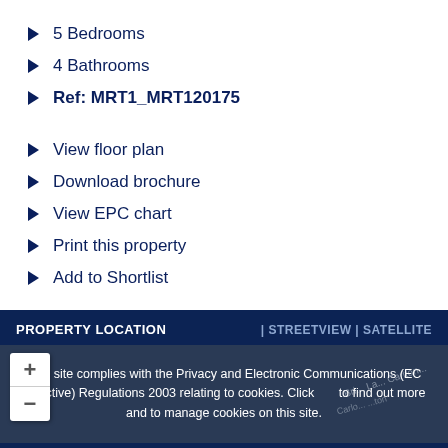5 Bedrooms
4 Bathrooms
Ref: MRT1_MRT120175
View floor plan
Download brochure
View EPC chart
Print this property
Add to Shortlist
PROPERTY LOCATION
| STREETVIEW | SATELLITE
This site complies with the Privacy and Electronic Communications (EC Directive) Regulations 2003 relating to cookies. Click to find out more and to manage cookies on this site.